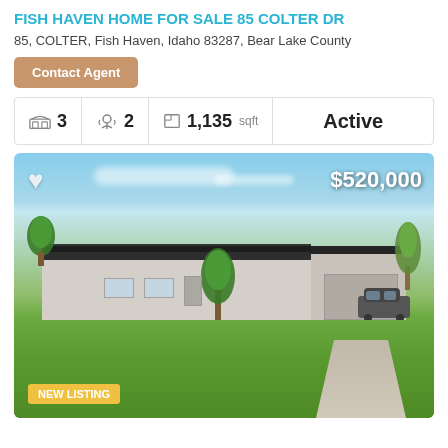FISH HAVEN HOME FOR SALE 85 COLTER DR
85, COLTER, Fish Haven, Idaho 83287, Bear Lake County
Contact Agent
| Beds | Baths | Sqft | Status |
| --- | --- | --- | --- |
| 3 | 2 | 1,135 sqft | Active |
[Figure (photo): Exterior photo of a single-story ranch home with solar panels, green lawn, tree in front, garage on right, carport, blue sky background. Price $520,000 shown top right. Heart icon top left. NEW LISTING badge bottom left.]